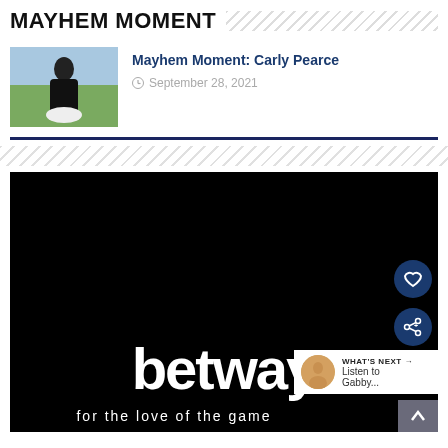MAYHEM MOMENT
[Figure (photo): Thumbnail photo of Carly Pearce in a black and white dress sitting in a field]
Mayhem Moment: Carly Pearce
September 28, 2021
[Figure (screenshot): Video player showing betway advertisement with white text 'betway' and tagline 'for the love of the game' on black background. Includes heart button, share button, 'WHAT'S NEXT → Listen to Gabby...' card overlay, and scroll-up arrow button.]